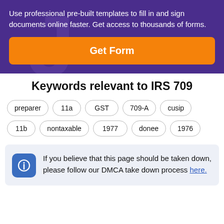Use professional pre-built templates to fill in and sign documents online faster. Get access to thousands of forms.
Get Form
Keywords relevant to IRS 709
preparer
11a
GST
709-A
cusip
11b
nontaxable
1977
donee
1976
If you believe that this page should be taken down, please follow our DMCA take down process here.